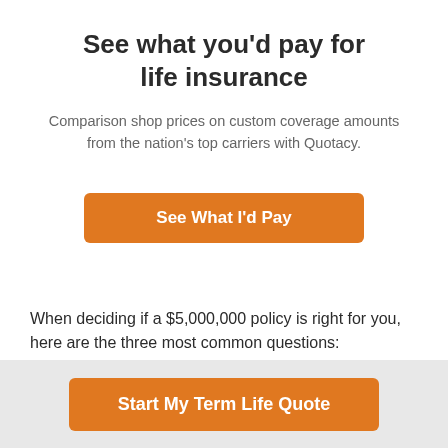See what you'd pay for life insurance
Comparison shop prices on custom coverage amounts from the nation's top carriers with Quotacy.
[Figure (other): Orange button labeled 'See What I'd Pay']
When deciding if a $5,000,000 policy is right for you, here are the three most common questions:
1. Can anyone get a $5,000,000 life insurance policy?
[Figure (other): Orange button labeled 'Start My Term Life Quote' in gray footer bar]